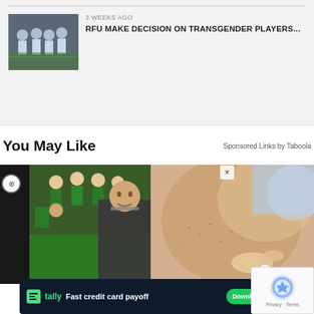[Figure (photo): Rugby players in white jerseys huddled together on a field, thumbnail image for article]
3 WEEKS AGO
RFU MAKE DECISION ON TRANSGENDER PLAYERS...
You May Like
Sponsored Links by Taboola
[Figure (photo): Composite image: South Africa rugby players in green jerseys on left, man in suit with intense expression in center, close-up of skin with dark spots on right]
[Figure (photo): Advertisement banner: Tally app - Fast credit card payoff with Download Now button]
[Figure (photo): Google reCAPTCHA widget with logo and Privacy Terms text]